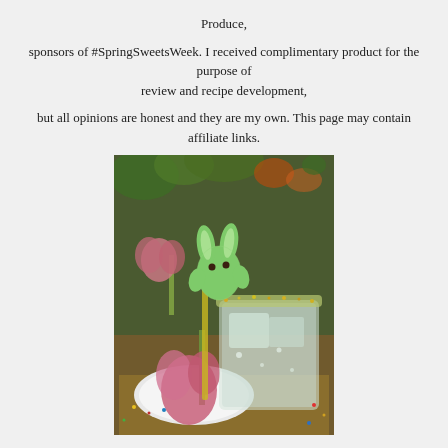Produce, sponsors of #SpringSweetsWeek. I received complimentary product for the purpose of review and recipe development, but all opinions are honest and they are my own. This page may contain affiliate links.
[Figure (photo): A green Peeps bunny marshmallow perched on the rim of a glass with a sugared/sparkle rim, sitting on a white plate with pink tulips and colorful Easter decorations in the background.]